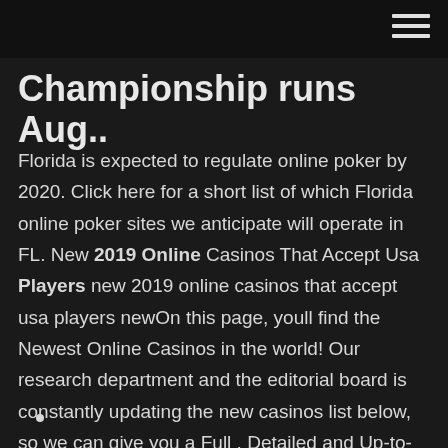Championship runs Aug..
Florida is expected to regulate online poker by 2020. Click here for a short list of which Florida online poker sites we anticipate will operate in FL. New 2019 Online Casinos That Accept Usa Players new 2019 online casinos that accept usa players newOn this page, youll find the Newest Online Casinos in the world! Our research department and the editorial board is constantly updating the new casinos list below, so we can give you a Full , Detailed and Up-to-date list of the most recent online casinos that were established in the last 12 months.OnlineCasino.info guide to USA online casinos ...
•